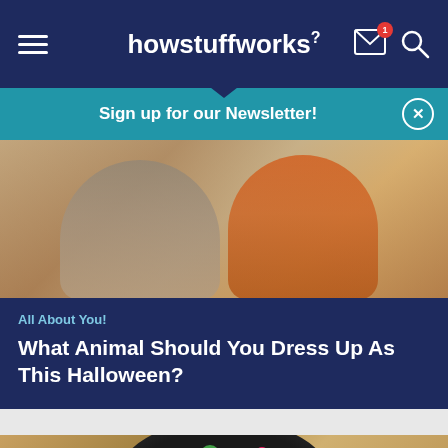howstuffworks
Sign up for our Newsletter!
[Figure (photo): Two babies in autumn outfits outdoors — one in gray and one in orange hoodie]
All About You!
What Animal Should You Dress Up As This Halloween?
[Figure (photo): Halloween candy in a black bowl on a wooden surface]